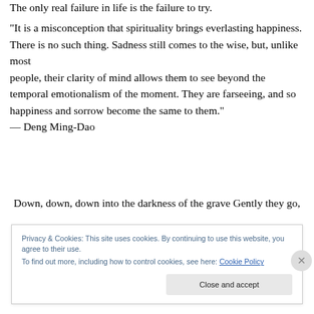The only real failure in life is the failure to try.
“It is a misconception that spirituality brings everlasting happiness. There is no such thing. Sadness still comes to the wise, but, unlike most people, their clarity of mind allows them to see beyond the temporal emotionalism of the moment. They are farseeing, and so happiness and sorrow become the same to them.”
— Deng Ming-Dao
Down, down, down into the darkness of the grave Gently they go,
Privacy & Cookies: This site uses cookies. By continuing to use this website, you agree to their use.
To find out more, including how to control cookies, see here: Cookie Policy
Close and accept